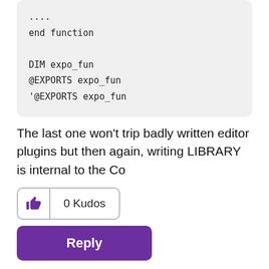....
end function

DIM expo_fun
@EXPORTS expo_fun
'@EXPORTS expo_fun
The last one won't trip badly written editor plugins but then again, writing LIBRARY is internal to the Co
[Figure (other): Kudos button with thumbs-up icon and '0 Kudos' label]
Reply
EnTerr
Level 11